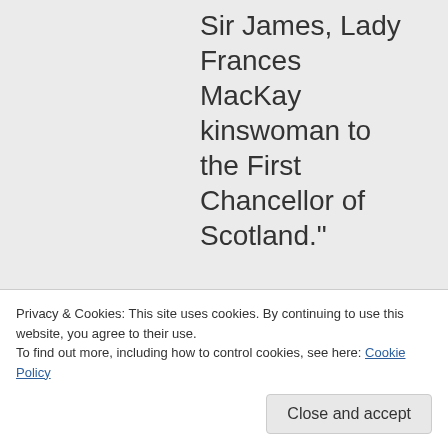Sir James, Lady Frances MacKay kinswoman to the First Chancellor of Scotland."

As Tyrell bowed, the footman
Privacy & Cookies: This site uses cookies. By continuing to use this website, you agree to their use.
To find out more, including how to control cookies, see here: Cookie Policy
Close and accept